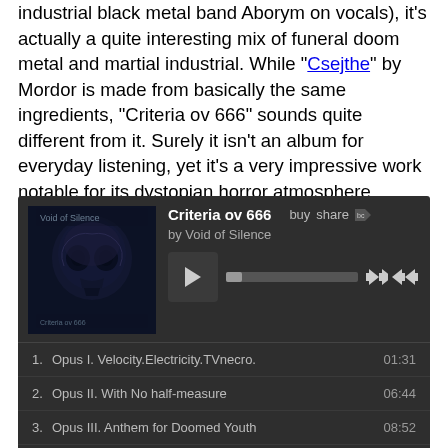industrial black metal band Aborym on vocals), it's actually a quite interesting mix of funeral doom metal and martial industrial. While "Csejthe" by Mordor is made from basically the same ingredients, "Criteria ov 666" sounds quite different from it. Surely it isn't an album for everyday listening, yet it's a very impressive work notable for its dystopian horror atmosphere.
[Figure (screenshot): Bandcamp music player showing album 'Criteria ov 666' by Void of Silence with tracklist: 1. Opus I. Velocity.Electricity.TVnecro. 01:31, 2. Opus II. With No half-measure 06:44, 3. Opus III. Anthem for Doomed Youth 08:52, 4. Opus IV. Anger 03:22, 5. Opus V. The Ultimate Supreme Intelligence 00:00/09:57 (currently playing)]